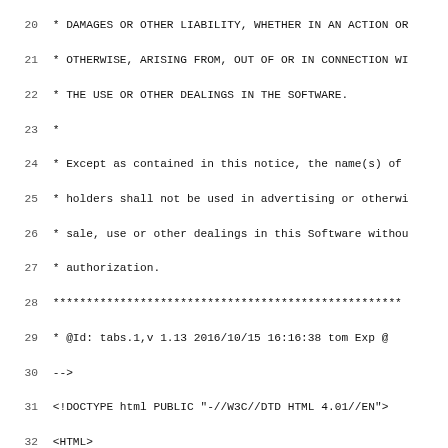Source code / HTML file content lines 20-51
20  * DAMAGES OR OTHER LIABILITY, WHETHER IN AN ACTION OR
21  * OTHERWISE, ARISING FROM, OUT OF OR IN CONNECTION WI
22  * THE USE OR OTHER DEALINGS IN THE SOFTWARE.
23  *
24  * Except as contained in this notice, the name(s) of
25  * holders shall not be used in advertising or otherwi
26  * sale, use or other dealings in this Software withou
27  * authorization.
28  ***...
29  * @Id: tabs.1,v 1.13 2016/10/15 16:16:38 tom Exp @
30  -->
31  <!DOCTYPE html PUBLIC "-//W3C//DTD HTML 4.01//EN">
32  <HTML>
33  <HEAD>
34  <meta http-equiv="Content-Type" content="text/html; cha
35  <meta name="generator" content="Manpage converted by ma
36  <TITLE>tabs 1</TITLE>
37  <link rev=made href="mailto:bug-ncurses@gnu.org">
38  <meta http-equiv="Content-Type" content="text/html; cha
39  </HEAD>
40  <BODY>
41  <H1 class="no-header">tabs 1</H1>
42  <PRE>
43  <STRONG><A HREF="tabs.1.html">tabs(1)</A></STRONG>
44
45
46
47
48  </PRE><H2><a name="h2-NAME">NAME</a></H2><PRE>
49          <STRONG>tabs</STRONG> - set tabs on a terminal
50
51